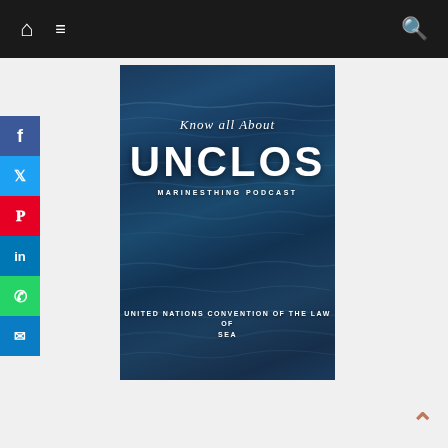Navigation bar with home, menu, and search icons
[Figure (screenshot): Social media sharing sidebar with Facebook, Twitter, Pinterest, LinkedIn, WhatsApp, and Email buttons]
[Figure (illustration): Poster image with ocean/water background showing text: 'Know all About UNCLOS MARINESTHING PODCAST UNITED NATIONS CONVENTION OF THE LAW OF SEA']